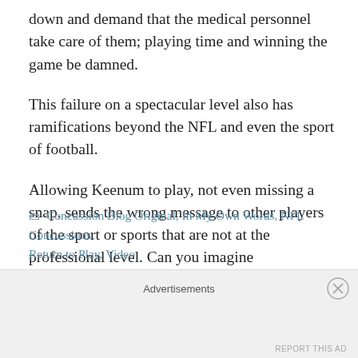down and demand that the medical personnel take care of them; playing time and winning the game be damned.
This failure on a spectacular level also has ramifications beyond the NFL and even the sport of football.
Allowing Keenum to play, not even missing a snap, sends the wrong message to other players of the sport or sports that are not at the professional level. Can you imagine
Continue reading →
📁 Concussion Blog Original, In My Own Words, NFL Concussions, Return to Play, Video
Advertisements